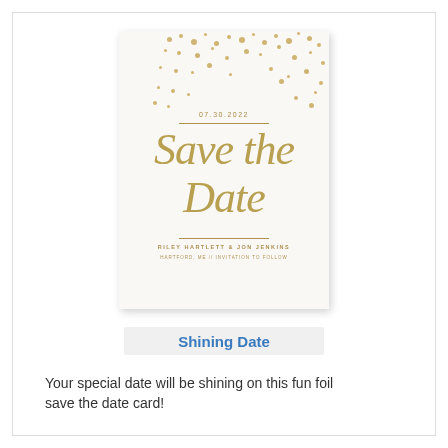[Figure (illustration): A save the date wedding card with gold foil script text reading 'Save the Date', gold confetti dot pattern at top, date 07.30.2022, names RILEY HARTLETT & JON JENKINS, HARTFORD, ME // INVITATION TO FOLLOW]
Shining Date
Your special date will be shining on this fun foil save the date card!